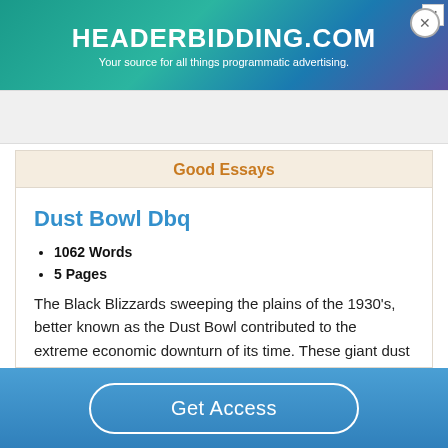[Figure (screenshot): HEADERBIDDING.COM advertisement banner with teal/purple gradient background. Text: 'HEADERBIDDING.COM' and 'Your source for all things programmatic advertising.']
Good Essays
Dust Bowl Dbq
1062 Words
5 Pages
The Black Blizzards sweeping the plains of the 1930's, better known as the Dust Bowl contributed to the extreme economic downturn of its time. These giant dust storms were caused mainly by a combination of environmental factors and human actions. In turn, these oversized storms
Get Access